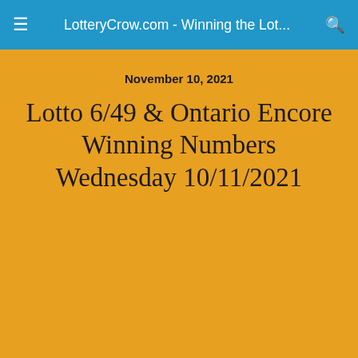LotteryCrow.com - Winning the Lot...
November 10, 2021
Lotto 6/49 & Ontario Encore Winning Numbers Wednesday 10/11/2021
Share
Tweet
Pin
Mail
SMS
Lotto 6/49 & Ontario Encore Winning Numbers
Wednesday 10/11/2021
Lotto 6/49 estimated jackpot $17 millions
02, 07, 18, 19, 23 & 25 Bonus No 43